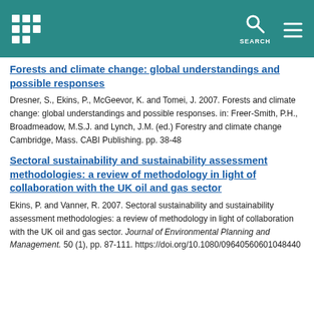SEARCH
Forests and climate change: global understandings and possible responses
Dresner, S., Ekins, P., McGeevor, K. and Tomei, J. 2007. Forests and climate change: global understandings and possible responses. in: Freer-Smith, P.H., Broadmeadow, M.S.J. and Lynch, J.M. (ed.) Forestry and climate change Cambridge, Mass. CABI Publishing. pp. 38-48
Sectoral sustainability and sustainability assessment methodologies: a review of methodology in light of collaboration with the UK oil and gas sector
Ekins, P. and Vanner, R. 2007. Sectoral sustainability and sustainability assessment methodologies: a review of methodology in light of collaboration with the UK oil and gas sector. Journal of Environmental Planning and Management. 50 (1), pp. 87-111. https://doi.org/10.1080/09640560601048440